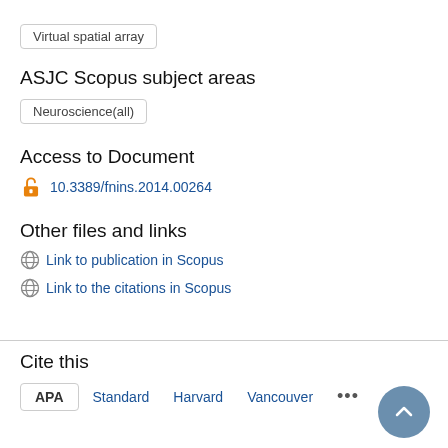Virtual spatial array
ASJC Scopus subject areas
Neuroscience(all)
Access to Document
10.3389/fnins.2014.00264
Other files and links
Link to publication in Scopus
Link to the citations in Scopus
Cite this
APA  Standard  Harvard  Vancouver  ...